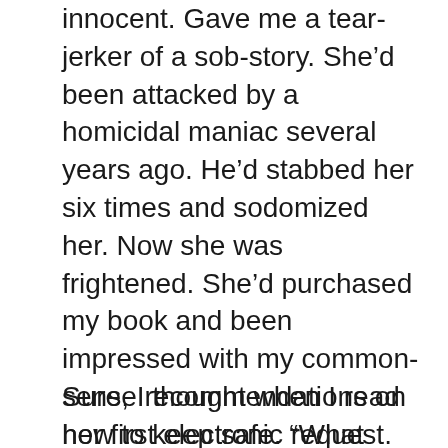innocent. Gave me a tear-jerker of a sob-story. She’d been attacked by a homicidal maniac several years ago. He’d stabbed her six times and sodomized her. Now she was frightened. She’d purchased my book and been impressed with my common-sense recommendations on how to keep safe. “What more can I do to protect myself?” Helen asked.
Sure, I thought when I read her first electronic request. Poor girl. She had been